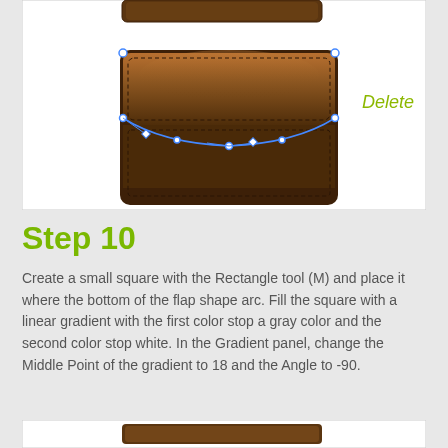[Figure (illustration): Screenshot of a leather wallet/bag icon being edited in Adobe Illustrator. The brown leather flap shape is shown selected with blue anchor points and handles visible. A 'Delete' label in olive/yellow-green italic text appears to the right of the shape.]
Step 10
Create a small square with the Rectangle tool (M) and place it where the bottom of the flap shape arc. Fill the square with a linear gradient with the first color stop a gray color and the second color stop white. In the Gradient panel, change the Middle Point of the gradient to 18 and the Angle to -90.
[Figure (illustration): Partial screenshot at bottom showing the top portion of a brown leather wallet/bag icon graphic.]